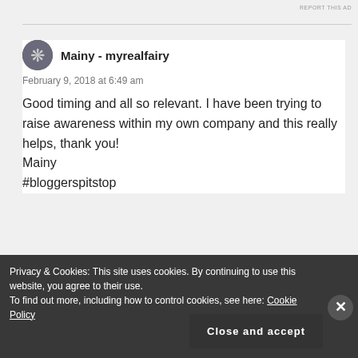REPORT THIS AD
Mainy - myrealfairy
February 9, 2018 at 6:49 am
Good timing and all so relevant. I have been trying to raise awareness within my own company and this really helps, thank you!
Mainy
#bloggerspitstop
Privacy & Cookies: This site uses cookies. By continuing to use this website, you agree to their use.
To find out more, including how to control cookies, see here: Cookie Policy
Close and accept